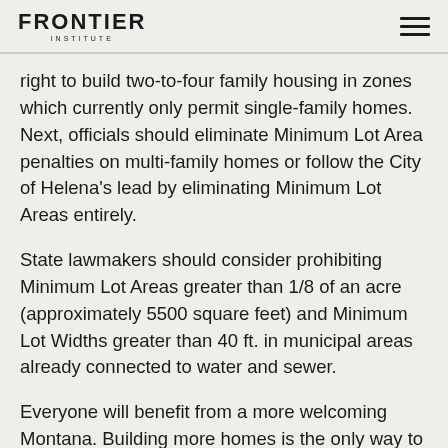FRONTIER INSTITUTE
right to build two-to-four family housing in zones which currently only permit single-family homes. Next, officials should eliminate Minimum Lot Area penalties on multi-family homes or follow the City of Helena's lead by eliminating Minimum Lot Areas entirely.
State lawmakers should consider prohibiting Minimum Lot Areas greater than 1/8 of an acre (approximately 5500 square feet) and Minimum Lot Widths greater than 40 ft. in municipal areas already connected to water and sewer.
Everyone will benefit from a more welcoming Montana. Building more homes is the only way to ensure that our communities can grow while remaining vibrant.